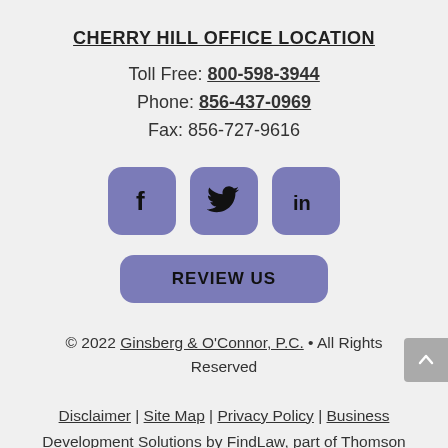CHERRY HILL OFFICE LOCATION
Toll Free: 800-598-3944
Phone: 856-437-0969
Fax: 856-727-9616
[Figure (infographic): Three social media icon buttons: Facebook (f), Twitter (bird), LinkedIn (in), each in a rounded purple/blue square]
[Figure (infographic): A purple/blue rounded button labeled REVIEW US]
© 2022 Ginsberg & O'Connor, P.C. • All Rights Reserved
Disclaimer | Site Map | Privacy Policy | Business Development Solutions by FindLaw, part of Thomson Reuters